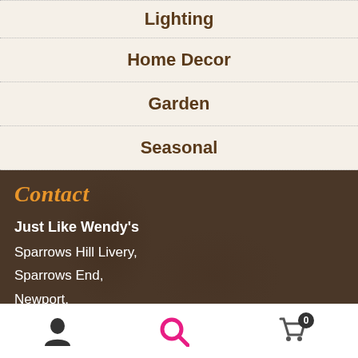Lighting
Home Decor
Garden
Seasonal
Contact
Just Like Wendy's
Sparrows Hill Livery,
Sparrows End,
Newport,
Saffron Walden,
User | Search | Cart (0)